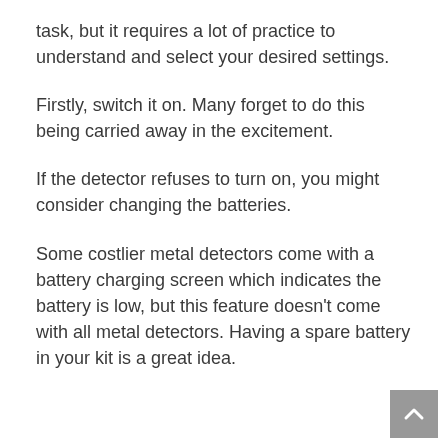task, but it requires a lot of practice to understand and select your desired settings.
Firstly, switch it on. Many forget to do this being carried away in the excitement.
If the detector refuses to turn on, you might consider changing the batteries.
Some costlier metal detectors come with a battery charging screen which indicates the battery is low, but this feature doesn't come with all metal detectors. Having a spare battery in your kit is a great idea.